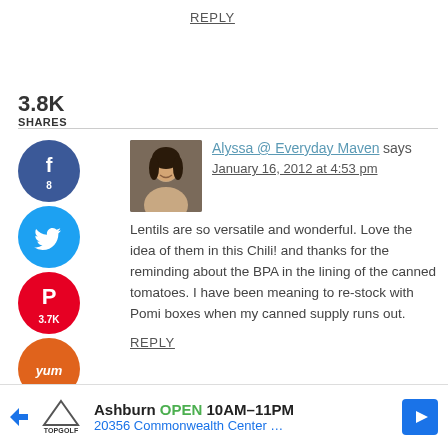REPLY
3.8K
SHARES
[Figure (illustration): Social sharing sidebar with Facebook (8), Twitter, Pinterest (3.7K), and Yum icons stacked vertically]
[Figure (photo): Avatar photo of Alyssa @ Everyday Maven, a woman smiling]
Alyssa @ Everyday Maven says
January 16, 2012 at 4:53 pm
Lentils are so versatile and wonderful. Love the idea of them in this Chili! and thanks for the reminding about the BPA in the lining of the canned tomatoes. I have been meaning to re-stock with Pomi boxes when my canned supply runs out.
REPLY
Ashburn OPEN 10AM–11PM
20356 Commonwealth Center …